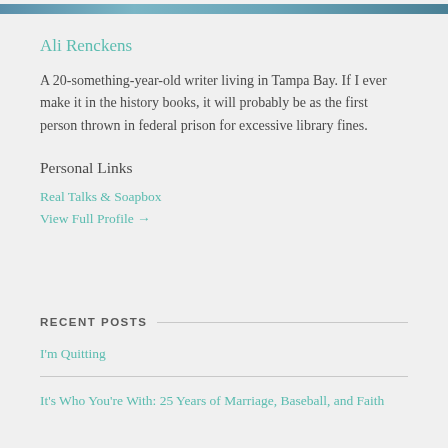[Figure (photo): Partial photo strip at the top of the page, showing a cropped image in teal/blue tones]
Ali Renckens
A 20-something-year-old writer living in Tampa Bay. If I ever make it in the history books, it will probably be as the first person thrown in federal prison for excessive library fines.
Personal Links
Real Talks & Soapbox
View Full Profile →
RECENT POSTS
I'm Quitting
It's Who You're With: 25 Years of Marriage, Baseball, and Faith